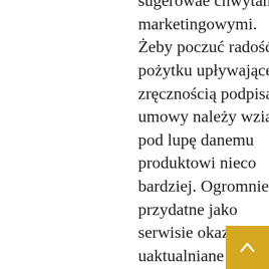sugerowaé chwytami marketingowymi. Żeby poczuć radość i pożytku upływające zręcznością podpisanej umowy należy wziąć pod lupę danemu produktowi nieco bardziej. Ogromnie przydatne jako serwisie okazują się uaktualniane porównywarki pieniężne. Z racji rankingom, można zweryfikować, która inwestycja bądź jaki to kredyt mieszkaniowy w tym momencie zdaje się być rzeczywiście dochodowy. Trzeba